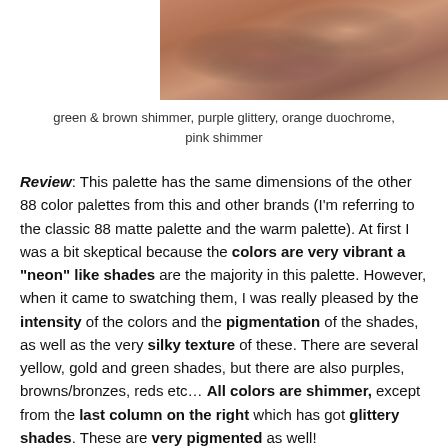[Figure (photo): Close-up photo of skin swatches showing cosmetic eyeshadow colors — green & brown shimmer, purple glittery, orange duochrome, pink shimmer]
green & brown shimmer, purple glittery, orange duochrome, pink shimmer
Review: This palette has the same dimensions of the other 88 color palettes from this and other brands (I'm referring to the classic 88 matte palette and the warm palette). At first I was a bit skeptical because the colors are very vibrant a "neon" like shades are the majority in this palette. However, when it came to swatching them, I was really pleased by the intensity of the colors and the pigmentation of the shades, as well as the very silky texture of these. There are several yellow, gold and green shades, but there are also purples, browns/bronzes, reds etc... All colors are shimmer, except from the last column on the right which has got glittery shades. These are very pigmented as well!